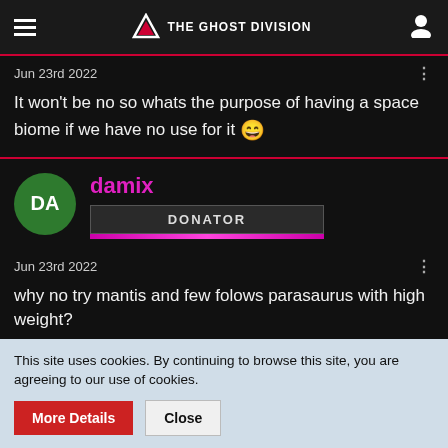THE GHOST DIVISION
Jun 23rd 2022
It won't be no so whats the purpose of having a space biome if we have no use for it 😄
DA damix DONATOR
Jun 23rd 2022
why no try mantis and few folows parasaurus with high weight?
This site uses cookies. By continuing to browse this site, you are agreeing to our use of cookies.